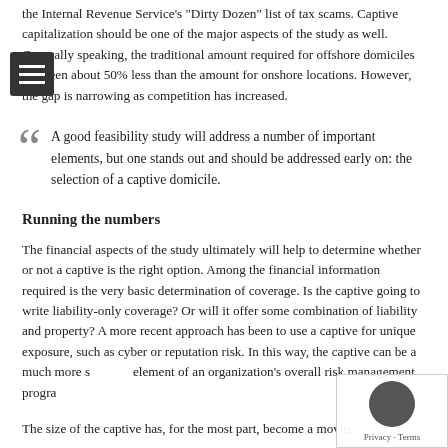the Internal Revenue Service's "Dirty Dozen" list of tax scams. Captive capitalization should be one of the major aspects of the study as well. Generally speaking, the traditional amount required for offshore domiciles has been about 50% less than the amount for onshore locations. However, the gap is narrowing as competition has increased.
A good feasibility study will address a number of important elements, but one stands out and should be addressed early on: the selection of a captive domicile.
Running the numbers
The financial aspects of the study ultimately will help to determine whether or not a captive is the right option. Among the financial information required is the very basic determination of coverage. Is the captive going to write liability-only coverage? Or will it offer some combination of liability and property? A more recent approach has been to use a captive for unique exposure, such as cyber or reputation risk. In this way, the captive can be a much more strategic element of an organization's overall risk management program.
The size of the captive has, for the most part, become a moving target. Initially, 50...